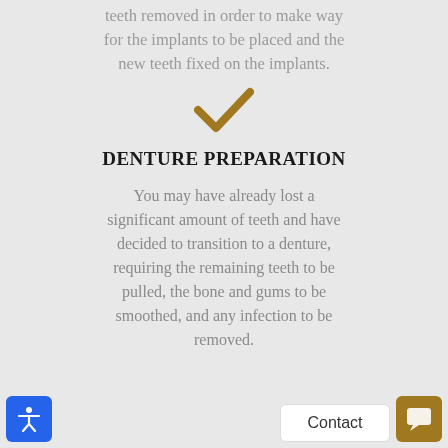teeth removed in order to make way for the implants to be placed and the new teeth fixed on the implants.
[Figure (illustration): Gold/dark yellow checkmark icon centered on the page]
DENTURE PREPARATION
You may have already lost a significant amount of teeth and have decided to transition to a denture, requiring the remaining teeth to be pulled, the bone and gums to be smoothed, and any infection to be removed.